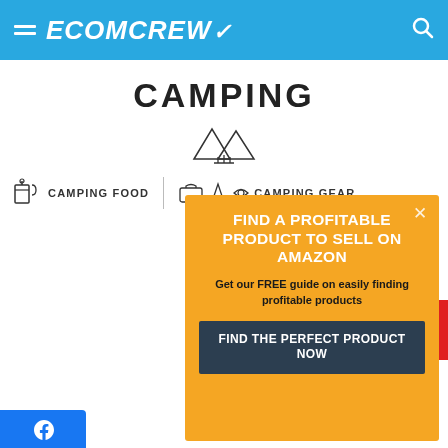ECOMCREW
CAMPING
CAMPING FOOD
CAMPING GEAR
FIND A PROFITABLE PRODUCT TO SELL ON AMAZON
Get our FREE guide on easily finding profitable products
FIND THE PERFECT PRODUCT NOW